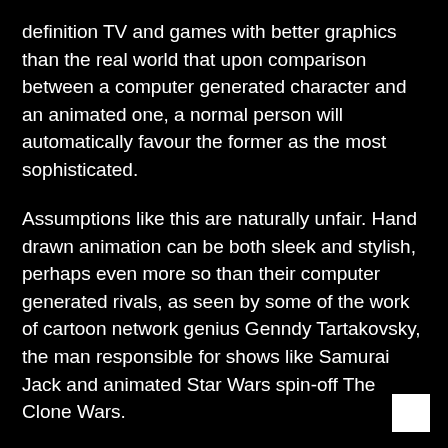definition TV and games with better graphics than the real world that upon comparison between a computer generated character and an animated one, a normal person will automatically favour the former as the most sophisticated.
Assumptions like this are naturally unfair. Hand drawn animation can be both sleek and stylish, perhaps even more so than their computer generated rivals, as seen by some of the work of cartoon network genius Genndy Tartakovsky, the man responsible for shows like Samurai Jack and animated Star Wars spin-off The Clone Wars.
The decline of hand drawn animation could have its advantages however. It's quickly becoming the cheap and far more expressive form of film making for quirky and indie film makers. Films like Persepolis, which shows the life of a young girl through the Iranian revolution, or the work of